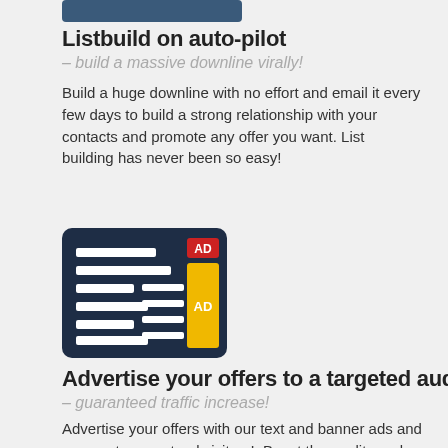[Figure (illustration): Dark blue rounded rectangle button/banner at top]
Listbuild on auto-pilot
– build a massive downline virally!
Build a huge downline with no effort and email it every few days to build a strong relationship with your contacts and promote any offer you want. List building has never been so easy!
[Figure (illustration): Dark navy blue rounded square icon showing a newspaper/ad layout with white horizontal lines and a red AD badge and a yellow vertical AD banner]
Advertise your offers to a targeted audience
– guaranteed traffic increase!
Advertise your offers with our text and banner ads and even get guaranteed visitors! Boost the quality and quantity of your traffic with our easy-to-use advertising tools and increase their exposure.